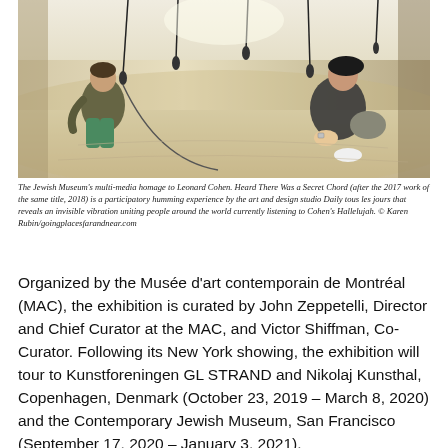[Figure (photo): Interior museum installation photo showing two people seated in a large, bright, curved white space with several hanging microphone-like objects suspended from the ceiling. One person wears green pants, the other wears dark clothing and carries a bag.]
The Jewish Museum's multi-media homage to Leonard Cohen. Heard There Was a Secret Chord (after the 2017 work of the same title, 2018) is a participatory humming experience by the art and design studio Daily tous les jours that reveals an invisible vibration uniting people around the world currently listening to Cohen's Hallelujah. © Karen Rubin/goingplacesfarandnear.com
Organized by the Musée d'art contemporain de Montréal (MAC), the exhibition is curated by John Zeppetelli, Director and Chief Curator at the MAC, and Victor Shiffman, Co-Curator. Following its New York showing, the exhibition will tour to Kunstforeningen GL STRAND and Nikolaj Kunsthal, Copenhagen, Denmark (October 23, 2019 – March 8, 2020) and the Contemporary Jewish Museum, San Francisco (September 17, 2020 – January 3, 2021).